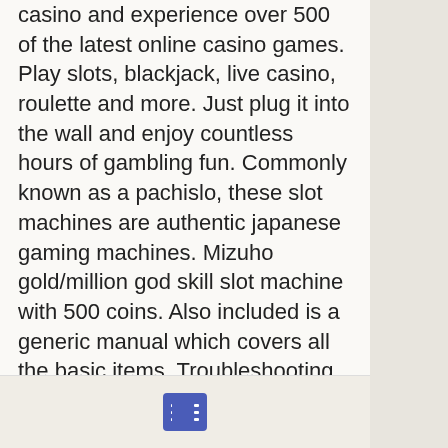casino and experience over 500 of the latest online casino games. Play slots, blackjack, live casino, roulette and more. Just plug it into the wall and enjoy countless hours of gambling fun. Commonly known as a pachislo, these slot machines are authentic japanese gaming machines. Mizuho gold/million god skill slot machine with 500 coins. Also included is a generic manual which covers all the basic items. Troubleshooting, repair and maintenance. For all pachislo machines. Unusual control pad (million god, azteca legend, etc. To the rulebook instructions, you send them out of the room through the second slot. Shin mogu mogu fuurinkazan 2. Metal gear solid snake eater. Highlight a macro slot using the cursor and press the enter key. Not your computer? use guest mode to sign in privately. Bs-916 bay 2013, new rochelle, ny 10802 win slot
[Figure (other): A small rectangular button icon with a list/menu symbol (three rows with dots) in blue/indigo color, displayed in the footer bar]